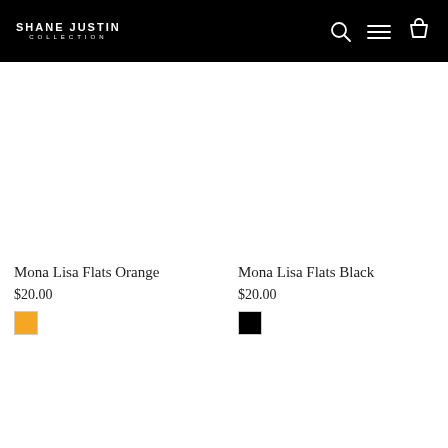SHANE JUSTIN COLLECTION
Mona Lisa Flats Orange
$20.00
Mona Lisa Flats Black
$20.00